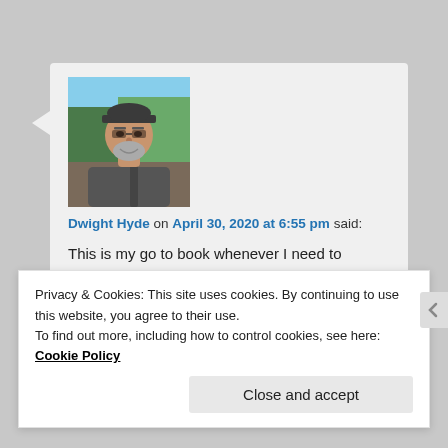[Figure (photo): Profile photo of a man wearing a baseball cap outdoors, shown from chest up]
Dwight Hyde on April 30, 2020 at 6:55 pm said:
This is my go to book whenever I need to reconnect with life: There's a spiritual solution to every problem by Wayne Dyer. I'm actually rereading it now for about the 5th time. Sending 🤘
Privacy & Cookies: This site uses cookies. By continuing to use this website, you agree to their use.
To find out more, including how to control cookies, see here: Cookie Policy